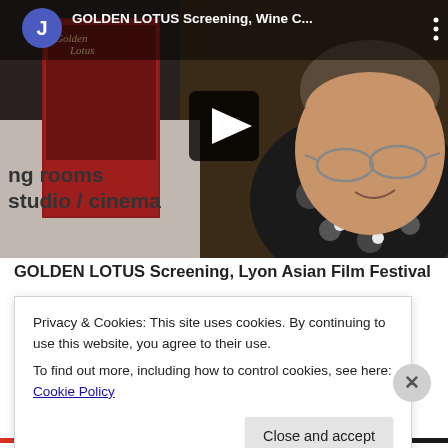[Figure (screenshot): YouTube-style video thumbnail showing a man smiling, with a poster reading 'Golden Lotus' on the left, wall text reading 'ng rooms studio / cinema', and a play button in the center. Top bar shows avatar circle with 'J', title 'GOLDEN LOTUS Screening, Wine C...', and a three-dot menu.]
GOLDEN LOTUS Screening, Lyon Asian Film Festival
Privacy & Cookies: This site uses cookies. By continuing to use this website, you agree to their use.
To find out more, including how to control cookies, see here: Cookie Policy